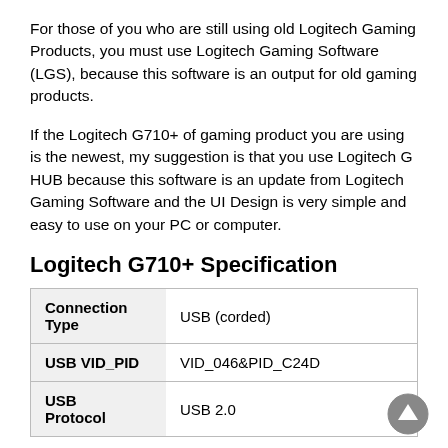For those of you who are still using old Logitech Gaming Products, you must use Logitech Gaming Software (LGS), because this software is an output for old gaming products.
If the Logitech G710+ of gaming product you are using is the newest, my suggestion is that you use Logitech G HUB because this software is an update from Logitech Gaming Software and the UI Design is very simple and easy to use on your PC or computer.
Logitech G710+ Specification
| Connection Type | USB (corded) |
| --- | --- |
| USB VID_PID | VID_046&PID_C24D |
| USB Protocol | USB 2.0 |